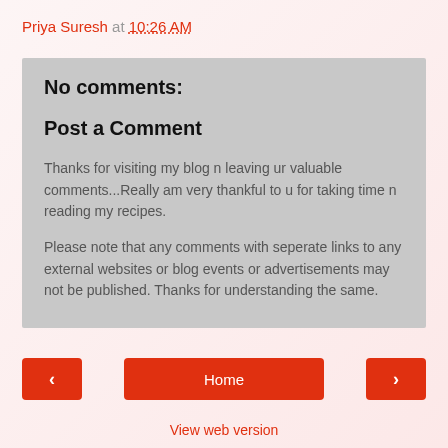Priya Suresh at 10:26 AM
No comments:
Post a Comment
Thanks for visiting my blog n leaving ur valuable comments...Really am very thankful to u for taking time n reading my recipes.
Please note that any comments with seperate links to any external websites or blog events or advertisements may not be published. Thanks for understanding the same.
‹
Home
›
View web version